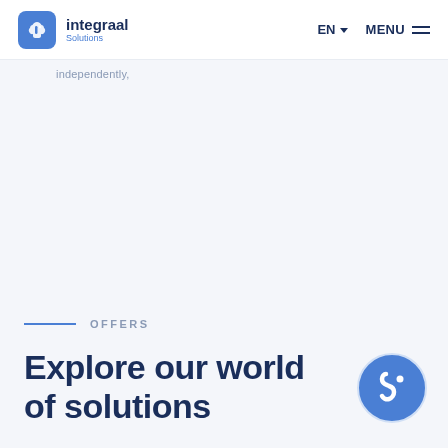integraal Solutions | EN | MENU
independently,
OFFERS
Explore our world of solutions
[Figure (logo): Integraal Solutions floating circle logo icon in blue]